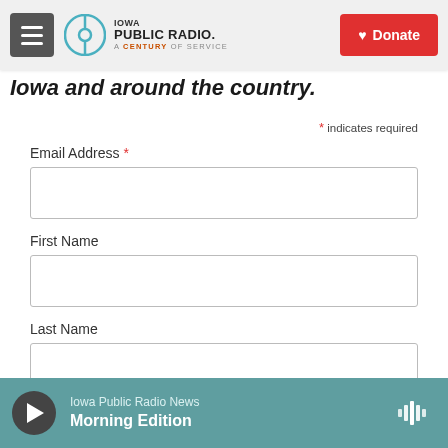[Figure (logo): Iowa Public Radio logo with hamburger menu and Donate button in header]
Iowa and around the country.
* indicates required
Email Address *
First Name
Last Name
Subscribe
Iowa Public Radio News Morning Edition